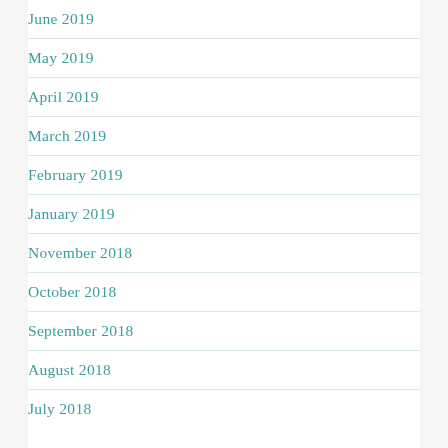June 2019
May 2019
April 2019
March 2019
February 2019
January 2019
November 2018
October 2018
September 2018
August 2018
July 2018